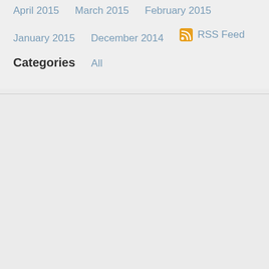April 2015
March 2015
February 2015
January 2015
December 2014
RSS Feed
Categories
All